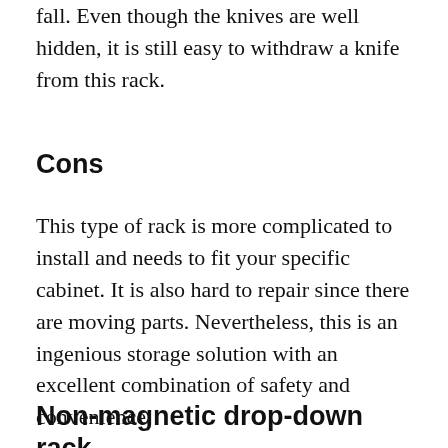fall. Even though the knives are well hidden, it is still easy to withdraw a knife from this rack.
Cons
This type of rack is more complicated to install and needs to fit your specific cabinet. It is also hard to repair since there are moving parts. Nevertheless, this is an ingenious storage solution with an excellent combination of safety and convenience.
Non-magnetic drop-down rack